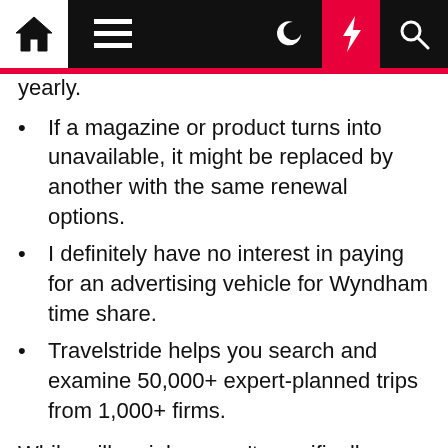Home | Menu | Moon | Bolt | Search
yearly.
If a magazine or product turns into unavailable, it might be replaced by another with the same renewal options.
I definitely have no interest in paying for an advertising vehicle for Wyndham time share.
Travelstride helps you search and examine 50,000+ expert-planned trips from 1,000+ firms.
While millennials weren't specifically mentioned as a motive to amass the media brand, Brown did spotlight Travel + Leisure's 20 million "loyal followers" across social media platforms. There is even precedent within Wyndham Destinations for some degree of media marriage. Its RCI brand's